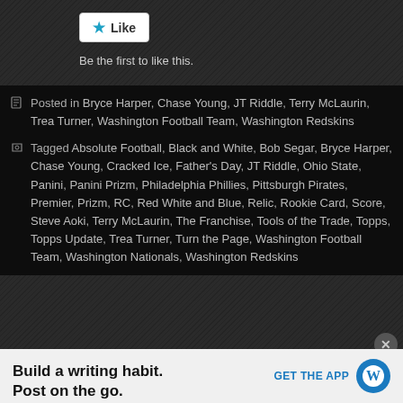[Figure (screenshot): Like button widget with star icon on dark background]
Be the first to like this.
Posted in Bryce Harper, Chase Young, JT Riddle, Terry McLaurin, Trea Turner, Washington Football Team, Washington Redskins
Tagged Absolute Football, Black and White, Bob Segar, Bryce Harper, Chase Young, Cracked Ice, Father's Day, JT Riddle, Ohio State, Panini, Panini Prizm, Philadelphia Phillies, Pittsburgh Pirates, Premier, Prizm, RC, Red White and Blue, Relic, Rookie Card, Score, Steve Aoki, Terry McLaurin, The Franchise, Tools of the Trade, Topps, Topps Update, Trea Turner, Turn the Page, Washington Football Team, Washington Nationals, Washington Redskins
Advertisements
Build a writing habit. Post on the go.
GET THE APP